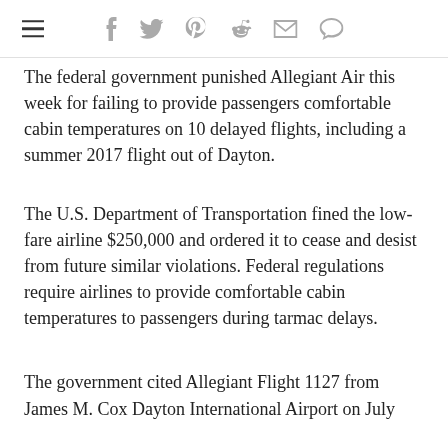[navigation bar with hamburger menu and social icons: facebook, twitter, pinterest, reddit, email, comment]
The federal government punished Allegiant Air this week for failing to provide passengers comfortable cabin temperatures on 10 delayed flights, including a summer 2017 flight out of Dayton.
The U.S. Department of Transportation fined the low-fare airline $250,000 and ordered it to cease and desist from future similar violations. Federal regulations require airlines to provide comfortable cabin temperatures to passengers during tarmac delays.
The government cited Allegiant Flight 1127 from James M. Cox Dayton International Airport on July